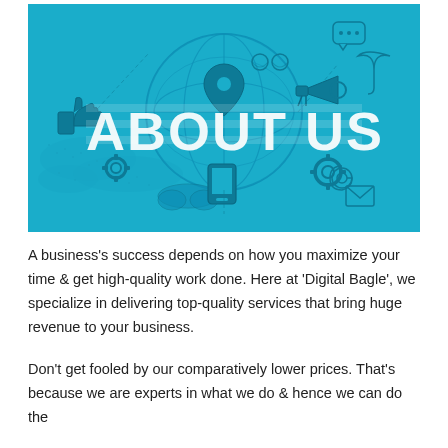[Figure (illustration): Teal/cyan banner image with 'ABOUT US' text in large white bold letters overlaid on a world globe surrounded by various business and communication icons (thumbs up, location pin, gears, megaphone, chat bubbles, umbrella, telephone, clouds, etc.) on a teal background with a dotted world map.]
A business's success depends on how you maximize your time & get high-quality work done. Here at 'Digital Bagle', we specialize in delivering top-quality services that bring huge revenue to your business.
Don't get fooled by our comparatively lower prices. That's because we are experts in what we do & hence we can do the